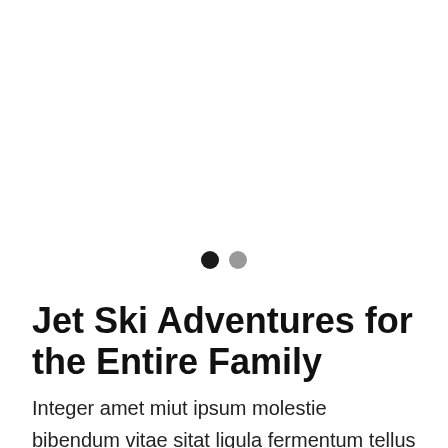[Figure (other): Carousel pagination indicator with two dots: one black (active) and one gray (inactive)]
Jet Ski Adventures for the Entire Family
Integer amet miut ipsum molestie bibendum vitae sitat ligula fermentum tellus